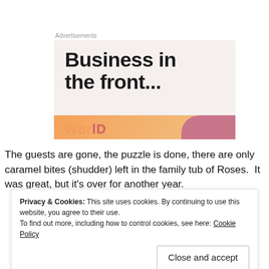Advertisements
[Figure (illustration): Advertisement banner with large bold text 'Business in the front...' on a beige/cream background, with an orange and pink decorative bar at the bottom showing partial text.]
The guests are gone, the puzzle is done, there are only caramel bites (shudder) left in the family tub of Roses.  It was great, but it's over for another year.
Privacy & Cookies: This site uses cookies. By continuing to use this website, you agree to their use.
To find out more, including how to control cookies, see here: Cookie Policy
Close and accept